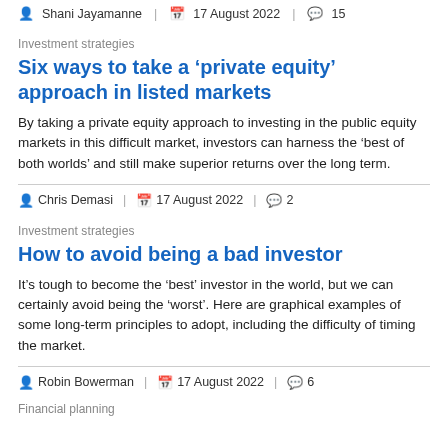Shani Jayamanne | 17 August 2022 | 15
Investment strategies
Six ways to take a ‘private equity’ approach in listed markets
By taking a private equity approach to investing in the public equity markets in this difficult market, investors can harness the ‘best of both worlds’ and still make superior returns over the long term.
Chris Demasi | 17 August 2022 | 2
Investment strategies
How to avoid being a bad investor
It’s tough to become the ‘best’ investor in the world, but we can certainly avoid being the ‘worst’. Here are graphical examples of some long-term principles to adopt, including the difficulty of timing the market.
Robin Bowerman | 17 August 2022 | 6
Financial planning